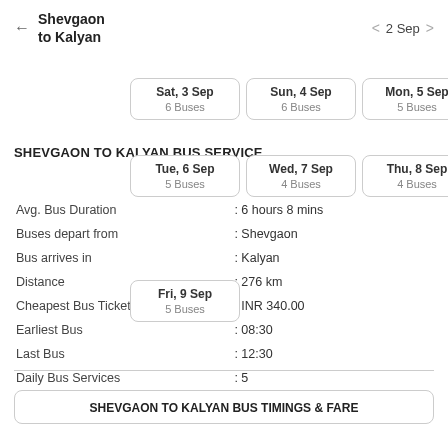← Shevgaon to Kalyan    < 2 Sep >
Sat, 3 Sep 6 Buses | Sun, 4 Sep 6 Buses | Mon, 5 Sep 5 Buses
SHEVGAON TO KALYAN BUS SERVICE
Tue, 6 Sep 5 Buses | Wed, 7 Sep 4 Buses | Thu, 8 Sep 4 Buses
|  |  |
| --- | --- |
| Avg. Bus Duration | : 6 hours 8 mins |
| Buses depart from | : Shevgaon |
| Bus arrives in | : Kalyan |
| Distance | : 276 km |
| Cheapest Bus Ticket | : INR 340.00 |
| Earliest Bus | : 08:30 |
| Last Bus | : 12:30 |
| Daily Bus Services | : 5 |
Fri, 9 Sep 5 Buses
SHEVGAON TO KALYAN BUS TIMINGS & FARE